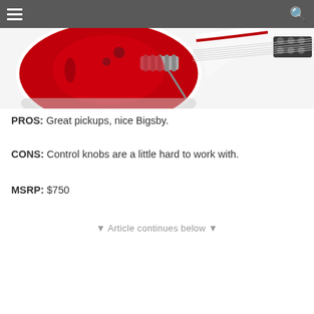[Figure (photo): Partial photo of a red and white electric guitar (semi-hollow body) with Bigsby vibrato, shown against a white background. The top navigation bar with a hamburger menu on the left and a search icon on the right is overlaid on the image.]
PROS: Great pickups, nice Bigsby.
CONS: Control knobs are a little hard to work with.
MSRP: $750
▼ Article continues below ▼